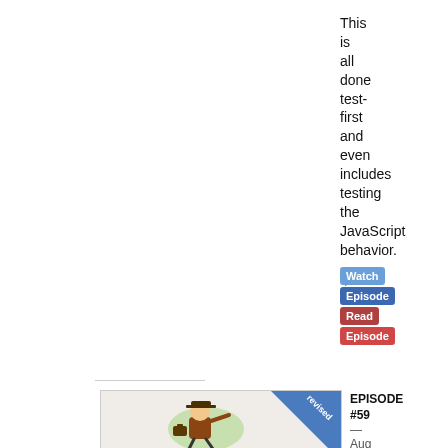This is all done test-first and even includes testing the JavaScript behavior. (11 minutes)
[Figure (infographic): Two blue buttons stacked: 'Watch' and 'Episode', then two red buttons stacked: 'Read' and 'Episode']
[Figure (illustration): Cartoon illustration of a detective-style character with a briefcase, with a blue 'revised' diagonal banner in top right corner]
EPISODE #59 — Aug 04, 2012